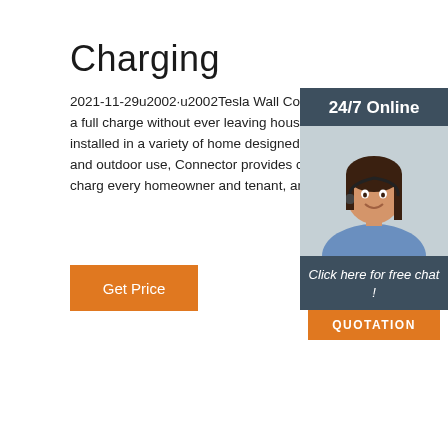Charging
2021-11-29u2002·u2002Tesla Wall Connector supplies a full charge without ever leaving house. Easily installed in a variety of home designed for both indoor and outdoor use, Connector provides convenient, fast charg every homeowner and tenant, any time of day.
[Figure (illustration): Customer service representative widget with '24/7 Online' header, photo of woman with headset, 'Click here for free chat!' text, and orange QUOTATION button]
Get Price